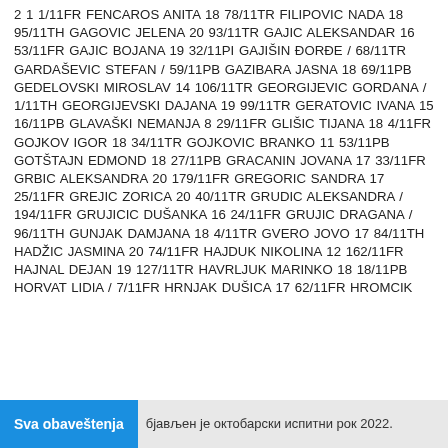2 1 1/11FR FENCAROS ANITA 18 78/11TR FILIPOVIC NADA 18 95/11TH GAGOVIC JELENA 20 93/11TR GAJIC ALEKSANDAR 16 53/11FR GAJIC BOJANA 19 32/11PI GAJIŠIN ĐORĐE / 68/11TR GARDAŠEVIC STEFAN / 59/11PB GAZIBARA JASNA 18 69/11PB GEDELOVSKI MIROSLAV 14 106/11TR GEORGIJEVIC GORDANA / 1/11TH GEORGIJEVSKI DAJANA 19 99/11TR GERATOVIC IVANA 15 16/11PB GLAVAŠKI NEMANJA 8 29/11FR GLIŠIC TIJANA 18 4/11FR GOJKOV IGOR 18 34/11TR GOJKOVIC BRANKO 11 53/11PB GOTŠTAJN EDMOND 18 27/11PB GRACANIN JOVANA 17 33/11FR GRBIC ALEKSANDRA 20 179/11FR GREGORIC SANDRA 17 25/11FR GREJIC ZORICA 20 40/11TR GRUDIC ALEKSANDRA / 194/11FR GRUJICIC DUŠANKA 16 24/11FR GRUJIC DRAGANA / 96/11TH GUNJAK DAMJANA 18 4/11TR GVERO JOVO 17 84/11TH HADŽIC JASMINA 20 74/11FR HAJDUK NIKOLINA 12 162/11FR HAJNAL DEJAN 19 127/11TR HAVRLJUK MARINKO 18 18/11PB HORVAT LIDIA / 7/11FR HRNJAK DUŠICA 17 62/11FR HROMCIK
Sva obaveštenja
бјављен је октобарски испитни рок 2022.